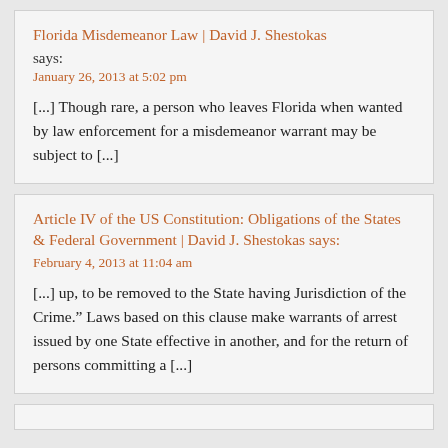Florida Misdemeanor Law | David J. Shestokas says:
January 26, 2013 at 5:02 pm
[...] Though rare, a person who leaves Florida when wanted by law enforcement for a misdemeanor warrant may be subject to [...]
Article IV of the US Constitution: Obligations of the States & Federal Government | David J. Shestokas says:
February 4, 2013 at 11:04 am
[...] up, to be removed to the State having Jurisdiction of the Crime.” Laws based on this clause make warrants of arrest issued by one State effective in another, and for the return of persons committing a [...]